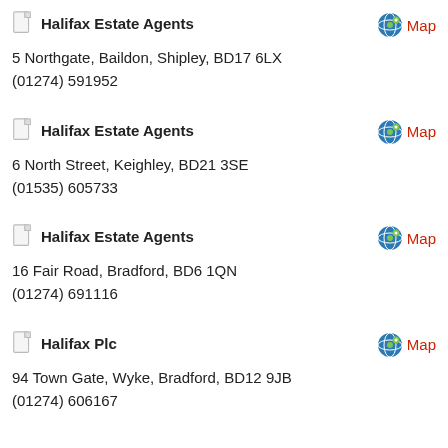Halifax Estate Agents
5 Northgate, Baildon, Shipley, BD17 6LX
(01274) 591952
Halifax Estate Agents
6 North Street, Keighley, BD21 3SE
(01535) 605733
Halifax Estate Agents
16 Fair Road, Bradford, BD6 1QN
(01274) 691116
Halifax Plc
94 Town Gate, Wyke, Bradford, BD12 9JB
(01274) 606167